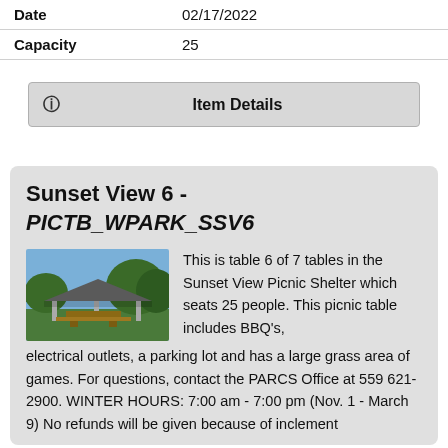| Field | Value |
| --- | --- |
| Date | 02/17/2022 |
| Capacity | 25 |
ℹ Item Details
Sunset View 6 - PICTB_WPARK_SSV6
[Figure (photo): Photo of Sunset View Picnic Shelter - a covered outdoor pavilion with picnic tables surrounded by trees and grass]
This is table 6 of 7 tables in the Sunset View Picnic Shelter which seats 25 people. This picnic table includes BBQ's, electrical outlets, a parking lot and has a large grass area of games. For questions, contact the PARCS Office at 559 621-2900. WINTER HOURS: 7:00 am - 7:00 pm (Nov. 1 - March 9) No refunds will be given because of inclement